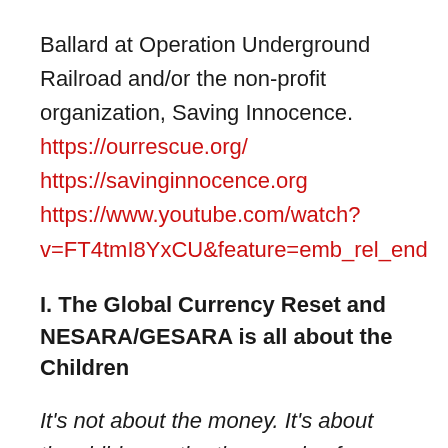Ballard at Operation Underground Railroad and/or the non-profit organization, Saving Innocence. https://ourrescue.org/ https://savinginnocence.org https://www.youtube.com/watch?v=FT4tmI8YxCU&feature=emb_rel_end
I. The Global Currency Reset and NESARA/GESARA is all about the Children
It's not about the money. It's about the children – the thousands of malnourished and traumatized children who in honor of Satan,